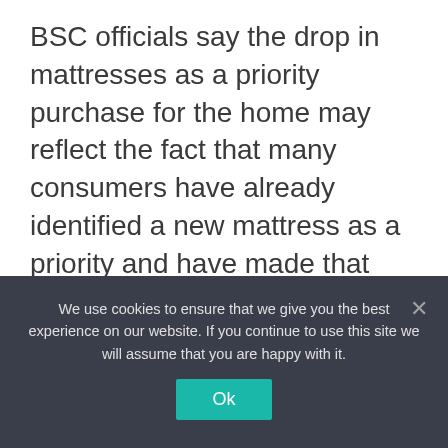BSC officials say the drop in mattresses as a priority purchase for the home may reflect the fact that many consumers have already identified a new mattress as a priority and have made that purchase.
“Given the increasing focus on the home that we saw last year, with a corresponding increase in mattress sales, it will be interesting to see how mattresses ranked as a priority purchase this year,” Rogers says. “That is one of the metrics we will be closely
We use cookies to ensure that we give you the best experience on our website. If you continue to use this site we will assume that you are happy with it.